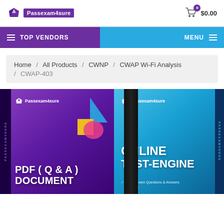Passexam4sure | $0.00
TOP VENDORS | MENU
Home / All Products / CWNP / CWAP Wi-Fi Analysis / CWAP-403
[Figure (photo): Two product boxes from Passexam4sure: left box is purple with 'PDF (Q&A) DOCUMENT' text and geometric shapes, right box is blue with 'ONLINE TEST-ENGINE' text. Both boxes show the Passexam4sure logo. The side of each box shows the brand name text rotated vertically.]